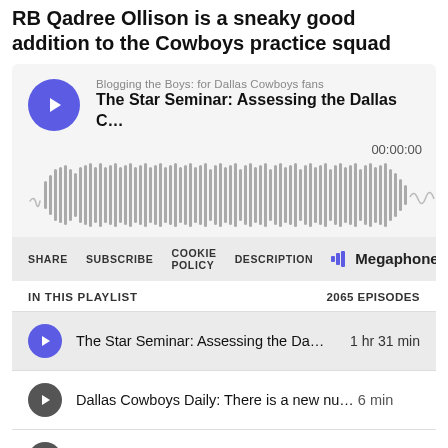RB Qadree Ollison is a sneaky good addition to the Cowboys practice squad
[Figure (screenshot): Megaphone podcast player widget showing 'Blogging the Boys: for Dallas Cowboys fans' podcast, episode 'The Star Seminar: Assessing the Dallas C...' with waveform audio visualizer at 00:00:00, toolbar with SHARE, SUBSCRIBE, COOKIE POLICY, DESCRIPTION and Megaphone branding, playlist showing 2065 episodes including 'The Star Seminar: Assessing the Da... 1 hr 31 min', 'Dallas Cowboys Daily: There is a new nu... 6 min', and 'Ryled Up: The idea of Jason Peters  39 min']